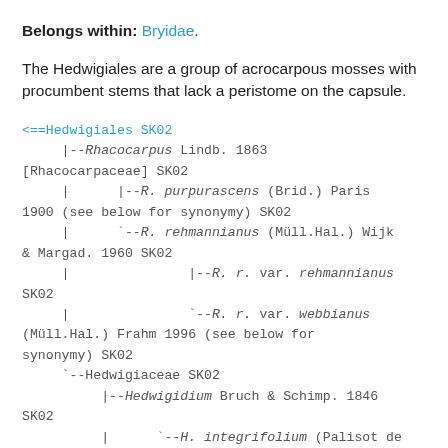Belongs within: Bryidae.
The Hedwigiales are a group of acrocarpous mosses with procumbent stems that lack a peristome on the capsule.
<==Hedwigiales SK02
     |--Rhacocarpus Lindb. 1863 [Rhacocarpaceae] SK02
     |      |--R. purpurascens (Brid.) Paris 1900 (see below for synonymy) SK02
     |      `--R. rehmannianus (Müll.Hal.) Wijk & Margad. 1960 SK02
     |               |--R. r. var. rehmannianus SK02
     |               `--R. r. var. webbianus (Müll.Hal.) Frahm 1996 (see below for synonymy) SK02
     `--Hedwigiaceae SK02
          |--Hedwigidium Bruch & Schimp. 1846 SK02
          |      `--H. integrifolium (Palisot de